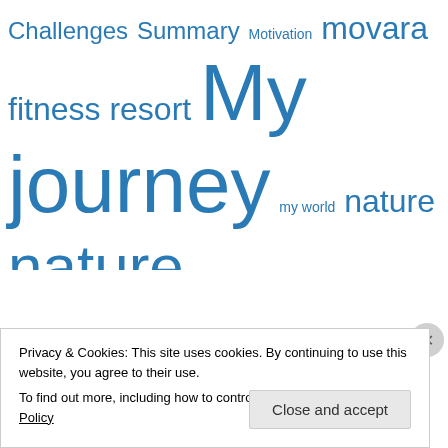[Figure (infographic): Tag cloud with blog/website tags in various sizes, all in blue. Tags include: Challenges, Summary, Motivation, movara fitness resort, My journey, my world, nature, nature photography, Nutrition, overcoming fear, Personal Growth, perspective, photography, Physical fitness, pilates, poetry, resistance training, Running, Running sucks, self-analysis, self confidence, Simplification, Simplify your life, stairmaster, stories, Strength training, Stress the]
Privacy & Cookies: This site uses cookies. By continuing to use this website, you agree to their use.
To find out more, including how to control cookies, see here: Cookie Policy